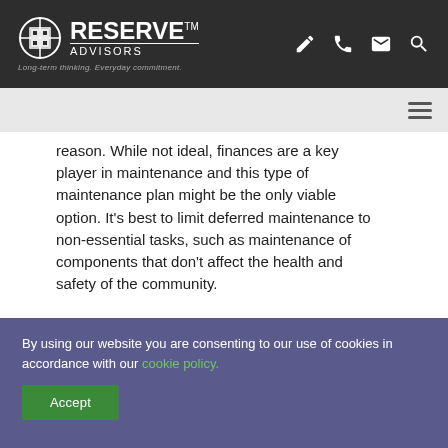Reserve Advisors™ – Long-term thinking. Everyday commitment.
reason. While not ideal, finances are a key player in maintenance and this type of maintenance plan might be the only viable option. It's best to limit deferred maintenance to non-essential tasks, such as maintenance of components that don't affect the health and safety of the community.
4. Emergency maintenance: Condominium
By using our website you are consenting to our use of cookies in accordance with our cookie policy.
Accept